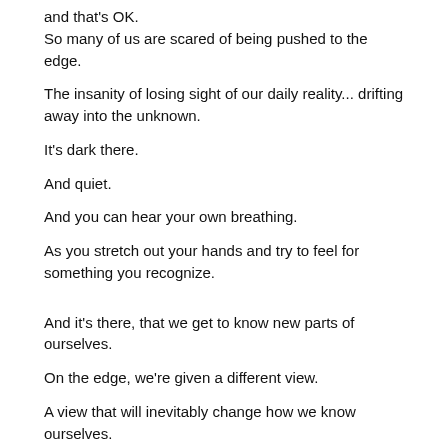and that's OK.
So many of us are scared of being pushed to the edge.
The insanity of losing sight of our daily reality... drifting away into the unknown.
It's dark there.
And quiet.
And you can hear your own breathing.
As you stretch out your hands and try to feel for something you recognize.
And it's there, that we get to know new parts of ourselves.
On the edge, we're given a different view.
A view that will inevitably change how we know ourselves.